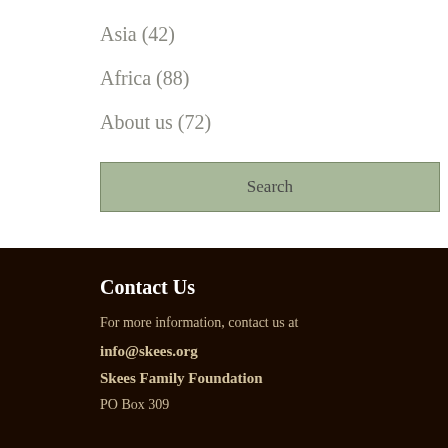Asia (42)
Africa (88)
About us (72)
Search
Contact Us
For more information, contact us at
info@skees.org
Skees Family Foundation
PO Box 309